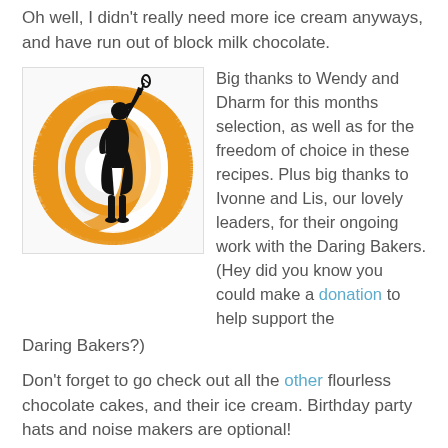Oh well, I didn't really need more ice cream anyways, and have run out of block milk chocolate.
[Figure (logo): Daring Bakers logo: silhouette of a woman holding a whisk, surrounded by orange spiral swirl on white background]
Big thanks to Wendy and Dharm for this months selection, as well as for the freedom of choice in these recipes. Plus big thanks to Ivonne and Lis, our lovely leaders, for their ongoing work with the Daring Bakers. (Hey did you know you could make a donation to help support the Daring Bakers?)
Don't forget to go check out all the other flourless chocolate cakes, and their ice cream. Birthday party hats and noise makers are optional!
Vanilla Bean Double Cream Ice cream